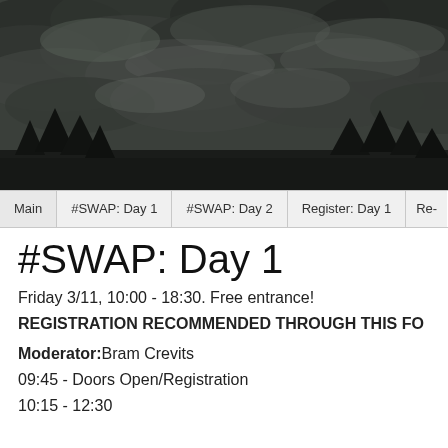[Figure (photo): Dark dramatic cloudy sky with silhouettes of trees at bottom]
Main | #SWAP: Day 1 | #SWAP: Day 2 | Register: Day 1 | Re...
#SWAP: Day 1
Friday 3/11, 10:00 - 18:30. Free entrance!
REGISTRATION RECOMMENDED THROUGH THIS FO
Moderator:Bram Crevits
09:45 - Doors Open/Registration
10:15 - 12:30